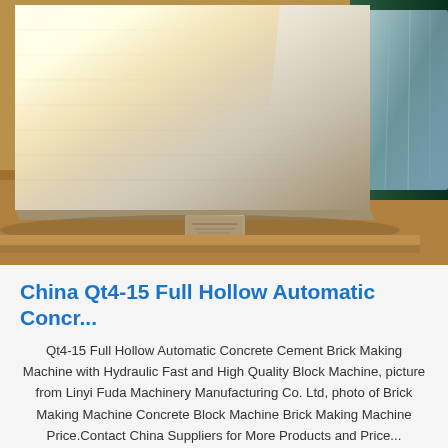[Figure (photo): A large polished metal sheet or steel plate photographed in a warehouse/storage setting. The plate is silver/grey with a slight golden hue from ambient light. It leans against a wall with plastic-wrapped materials visible in the background.]
China Qt4-15 Full Hollow Automatic Concr...
Qt4-15 Full Hollow Automatic Concrete Cement Brick Making Machine with Hydraulic Fast and High Quality Block Machine, picture from Linyi Fuda Machinery Manufacturing Co. Ltd, photo of Brick Making Machine Concrete Block Machine Brick Making Machine Price.Contact China Suppliers for More Products and Price...